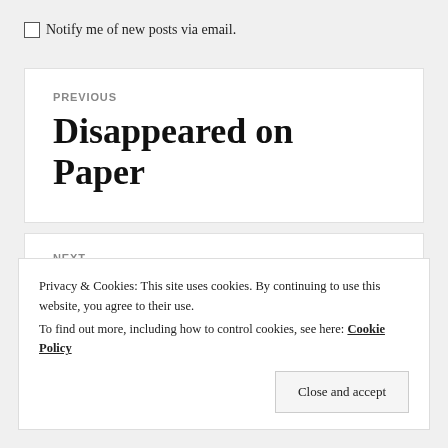Notify me of new posts via email.
PREVIOUS
Disappeared on Paper
NEXT
Privacy & Cookies: This site uses cookies. By continuing to use this website, you agree to their use. To find out more, including how to control cookies, see here: Cookie Policy
Close and accept